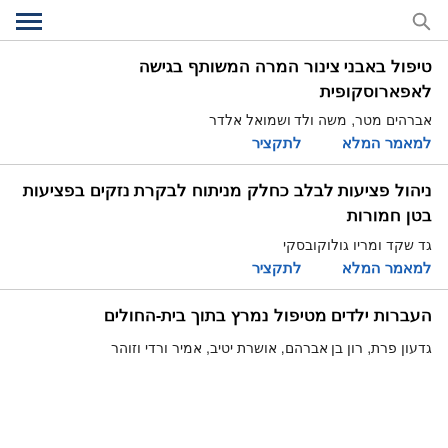[Search icon] [Menu icon]
טיפול באבני צינור המרה המשותף בגישה לאפארוסקופית
אברהים מטר, משה ולד ושמואל אלדר
לתקציר | למאמר המלא
ניהול פציעות לבלב כחלק מניתוח לבקרת נזקים בפציעות בטן חמורות
גד שקד ומריו גולוקובסקי
לתקציר | למאמר המלא
העברות ילדים מטיפול נמרץ בתוך בית-החולים
גדעון פרת, רון בן אברהם, אושרת יטיב, אמיר ורדי וזוהר